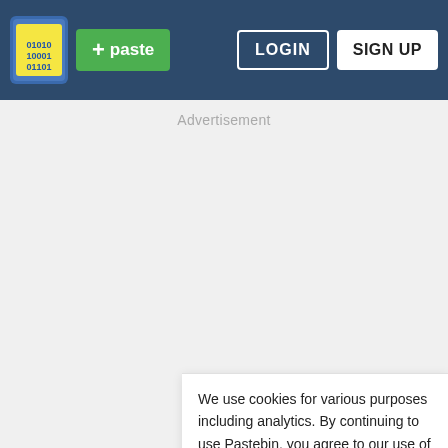[Figure (screenshot): Pastebin website header with logo, green paste button, LOGIN and SIGN UP buttons on dark blue background]
Advertisement
We use cookies for various purposes including analytics. By continuing to use Pastebin, you agree to our use of cookies as described in the Cookies Policy. OK, I Understand
Not a member of Pastebin yet? Sign Up, it unlocks many cool features!
[Figure (screenshot): Partial CVS pharmacy advertisement at the bottom showing In-store shopping and Drive-through text with checkmarks]